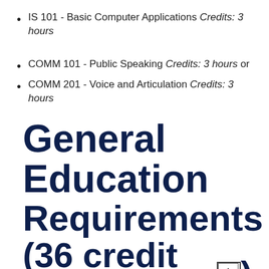IS 101 - Basic Computer Applications Credits: 3 hours
COMM 101 - Public Speaking Credits: 3 hours or
COMM 201 - Voice and Articulation Credits: 3 hours
General Education Requirements (36 credit hours)